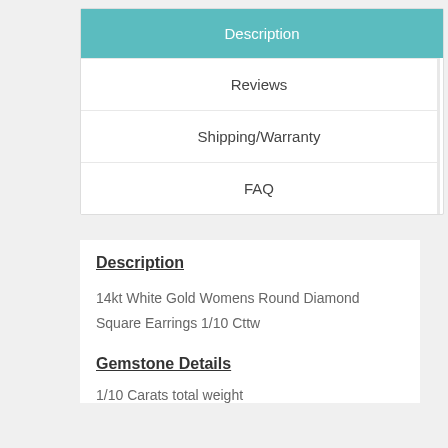Description
Reviews
Shipping/Warranty
FAQ
Description
14kt White Gold Womens Round Diamond Square Earrings 1/10 Cttw
Gemstone Details
1/10 Carats total weight